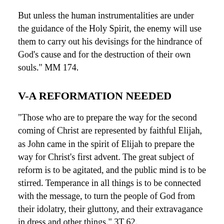But unless the human instrumentalities are under the guidance of the Holy Spirit, the enemy will use them to carry out his devisings for the hindrance of God's cause and for the destruction of their own souls." MM 174.
V-A REFORMATION NEEDED
"Those who are to prepare the way for the second coming of Christ are represented by faithful Elijah, as John came in the spirit of Elijah to prepare the way for Christ's first advent. The great subject of reform is to be agitated, and the public mind is to be stirred. Temperance in all things is to be connected with the message, to turn the people of God from their idolatry, their gluttony, and their extravagance in dress and other things." 3T 62.
"Every duty that calls for reform involves repentance, faith, and obedience. It means the uplifting of the soul to a new and nobler life. Thus every true reform has its place in the work of